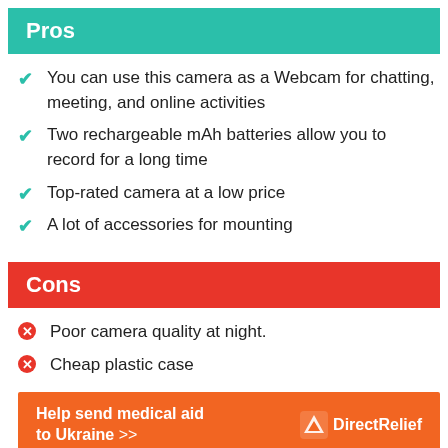Pros
You can use this camera as a Webcam for chatting, meeting, and online activities
Two rechargeable mAh batteries allow you to record for a long time
Top-rated camera at a low price
A lot of accessories for mounting
Cons
Poor camera quality at night.
Cheap plastic case
[Figure (infographic): Orange advertisement banner: Help send medical aid to Ukraine >> with Direct Relief logo]